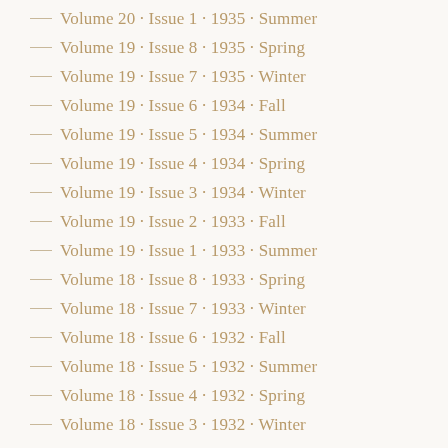Volume 20 · Issue 1 · 1935 · Summer
Volume 19 · Issue 8 · 1935 · Spring
Volume 19 · Issue 7 · 1935 · Winter
Volume 19 · Issue 6 · 1934 · Fall
Volume 19 · Issue 5 · 1934 · Summer
Volume 19 · Issue 4 · 1934 · Spring
Volume 19 · Issue 3 · 1934 · Winter
Volume 19 · Issue 2 · 1933 · Fall
Volume 19 · Issue 1 · 1933 · Summer
Volume 18 · Issue 8 · 1933 · Spring
Volume 18 · Issue 7 · 1933 · Winter
Volume 18 · Issue 6 · 1932 · Fall
Volume 18 · Issue 5 · 1932 · Summer
Volume 18 · Issue 4 · 1932 · Spring
Volume 18 · Issue 3 · 1932 · Winter